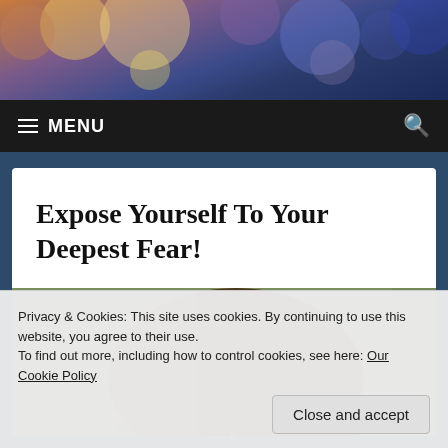[Figure (photo): Bokeh bokeh lights background header image with orange, purple, and blue out-of-focus light circles]
≡ MENU
Expose Yourself To Your Deepest Fear!
[Figure (photo): Top portion of a painting showing the top of a person's head with brown hair, green background]
Privacy & Cookies: This site uses cookies. By continuing to use this website, you agree to their use.
To find out more, including how to control cookies, see here: Our Cookie Policy
Close and accept